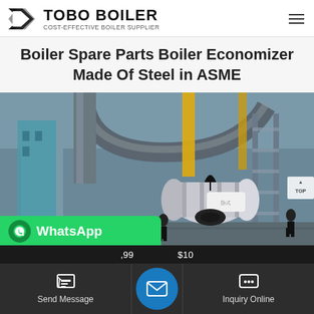TOBO BOILER — COST-EFFECTIVE BOILER SUPPLIER
Boiler Spare Parts Boiler Economizer Made Of Steel in ASME
[Figure (photo): Industrial boiler installation site showing large pipes, crane equipment, scaffolding, and a cylindrical fire-tube boiler unit with workers nearby]
WhatsApp
Send Message
Inquiry Online